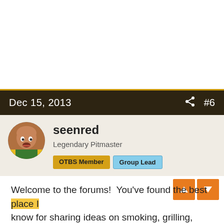Dec 15, 2013  #6
[Figure (photo): Round avatar photo of user seenred, a bald man wearing colorful clothing]
seenred
Legendary Pitmaster
OTBS Member | Group Lead
Welcome to the forums!  You've found the best place I know for sharing ideas on smoking, grilling, curing, etc. There are plenty of friendly, knowledgeable folks here who ...ward to you
[Figure (photo): Advertisement banner: MEET. CHAT. DATE. with clover logo, featuring a woman photo on left and close button on right]